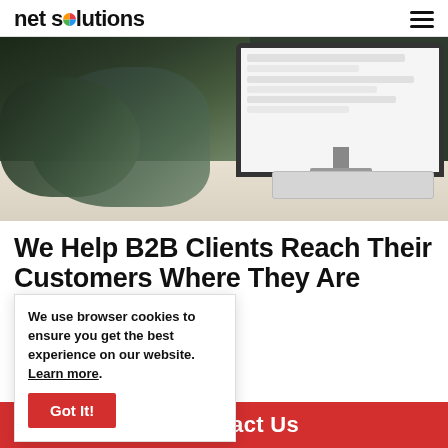net solutions
[Figure (photo): Person sitting at desk using an iMac computer, viewed from behind. The monitor shows a web application interface. There is a keyboard on the desk.]
We Help B2B Clients Reach Their Customers Where They Are
oped a cloud-based portal and rm that connects retailers and o both ends of the spectrum nt sales growth all around
We use browser cookies to ensure you get the best experience on our website. Learn more.
Got It!
ontact Us